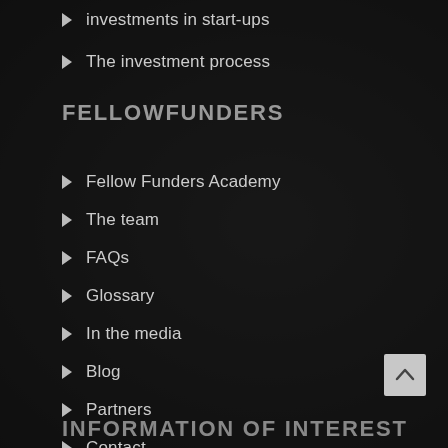investments in start-ups
The investment process
FELLOWFUNDERS
Fellow Funders Academy
The team
FAQs
Glossary
In the media
Blog
Partners
Contact
INFORMATION OF INTEREST